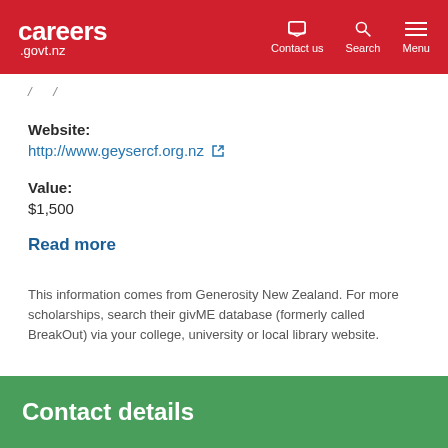careers.govt.nz | Contact us | Search | Menu
/ ... /
Website:
http://www.geysercf.org.nz
Value:
$1,500
Read more
This information comes from Generosity New Zealand. For more scholarships, search their givME database (formerly called BreakOut) via your college, university or local library website.
Contact details